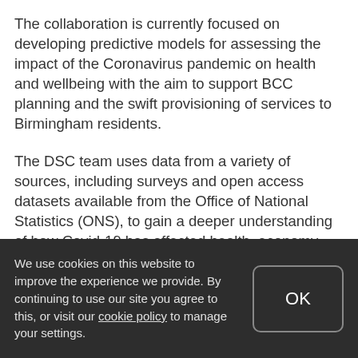The collaboration is currently focused on developing predictive models for assessing the impact of the Coronavirus pandemic on health and wellbeing with the aim to support BCC planning and the swift provisioning of services to Birmingham residents.
The DSC team uses data from a variety of sources, including surveys and open access datasets available from the Office of National Statistics (ONS), to gain a deeper understanding of how Covid-19 has affected health, economy and mental wellbeing across the region.
This data is then utilised by BCC to shape policies that support community needs and help the Council predict how
We use cookies on this website to improve the experience we provide. By continuing to use our site you agree to this, or visit our cookie policy to manage your settings.